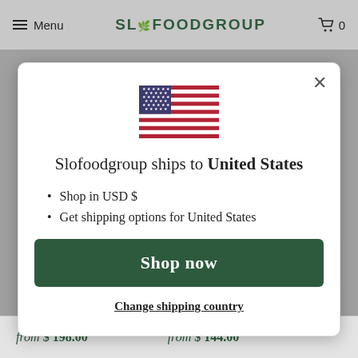Menu  SLOFOODGROUP  0
[Figure (screenshot): US flag icon - American flag with red and white stripes and blue canton with white stars]
Slofoodgroup ships to United States
Shop in USD $
Get shipping options for United States
Shop now
Change shipping country
from $ 198.00   from $ 144.00